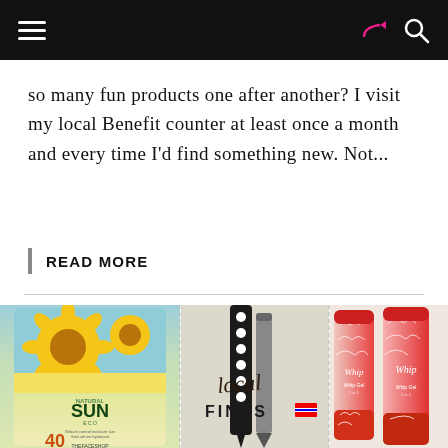[navigation bar with hamburger menu, share icon, search icon]
so many fun products one after another? I visit my local Benefit counter at least once a month and every time I'd find something new. Not...
READ MORE
[Figure (photo): Three panels showing beauty products: The Face Shop Natural Sun Eco SPF40 sunscreen box with sunflowers, black and white polka dot eyeliners with 'Local Finds' script and Thai flag, and pink/red lip gel tubes]